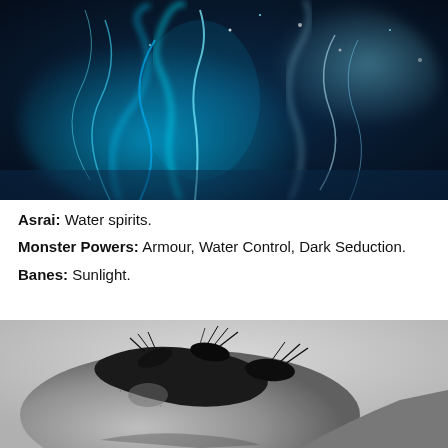[Figure (illustration): Digital fantasy illustration of a glowing blue water spirit/creature with swirling luminescent tendrils and ethereal smoke-like forms against a dark blue background]
Asrai: Water spirits.
Monster Powers: Armour, Water Control, Dark Seduction.
Banes: Sunlight.
[Figure (photo): Black and white photograph showing a man lying back with cockroaches crawling on his head/hair, shot from a low angle]